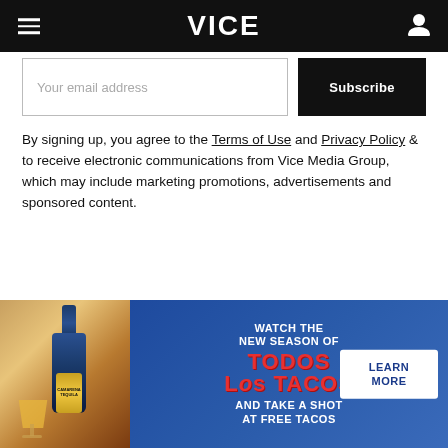VICE
Your email address
Subscribe
By signing up, you agree to the Terms of Use and Privacy Policy & to receive electronic communications from Vice Media Group, which may include marketing promotions, advertisements and sponsored content.
[Figure (infographic): Camarena Tequila advertisement banner showing a tequila bottle and cocktail on the left (photo), and on the right a blue background with text: WATCH THE NEW SEASON OF TODOS LOS TACOS AND TAKE A SHOT AT FREE TACOS, with a LEARN MORE button]